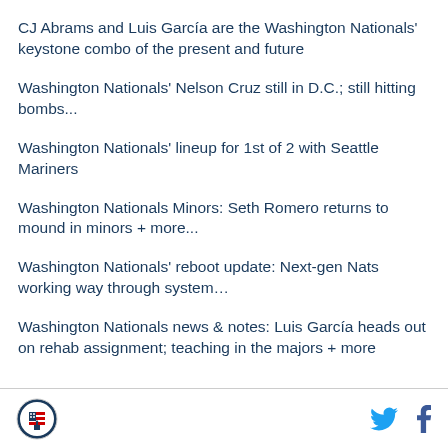CJ Abrams and Luis García are the Washington Nationals' keystone combo of the present and future
Washington Nationals' Nelson Cruz still in D.C.; still hitting bombs...
Washington Nationals' lineup for 1st of 2 with Seattle Mariners
Washington Nationals Minors: Seth Romero returns to mound in minors + more...
Washington Nationals' reboot update: Next-gen Nats working way through system…
Washington Nationals news & notes: Luis García heads out on rehab assignment; teaching in the majors + more
Logo | Twitter | Facebook